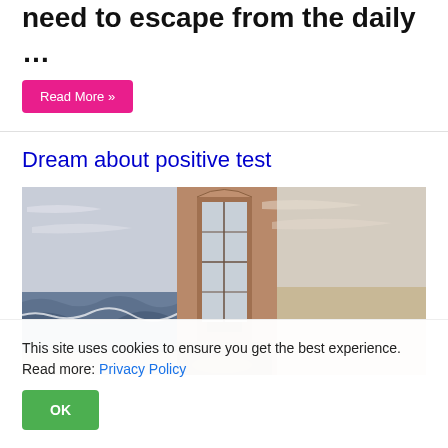need to escape from the daily …
Read More »
Dream about positive test
[Figure (illustration): Surrealist painting of an open door/window set in a book-like structure, with ocean waves on the left side and a sandy landscape on the right, viewed through an arched doorway with glass panes]
This site uses cookies to ensure you get the best experience. Read more: Privacy Policy
OK